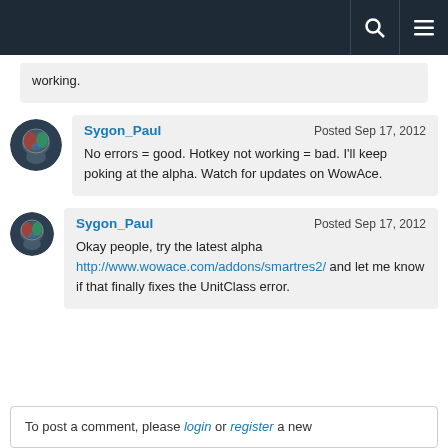working.
Sygon_Paul  Posted Sep 17, 2012
No errors = good. Hotkey not working = bad. I'll keep poking at the alpha. Watch for updates on WowAce.
Sygon_Paul  Posted Sep 17, 2012
Okay people, try the latest alpha http://www.wowace.com/addons/smartres2/ and let me know if that finally fixes the UnitClass error.
To post a comment, please login or register a new